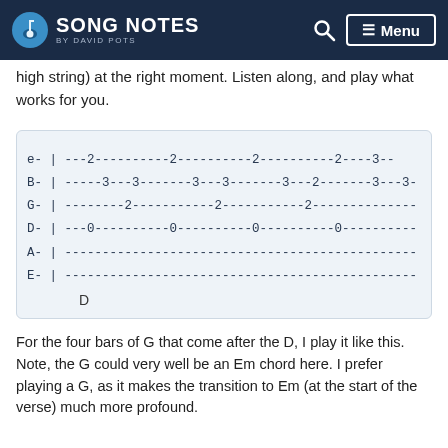SONG NOTES by David Pots
high string) at the right moment. Listen along, and play what works for you.
[Figure (other): Guitar tablature showing a D chord pattern across 6 strings (e, B, G, D, A, E) with fret numbers. e: ---2----------2----------2----------2----3-- B: -----3---3-------3---3-------3---2-------3---3- G: --------2-----------2-----------2-------------- D: ---0----------0----------0----------0---------- A: ------------------------------------------------ E: ------------------------------------------------ Chord label: D]
For the four bars of G that come after the D, I play it like this. Note, the G could very well be an Em chord here. I prefer playing a G, as it makes the transition to Em (at the start of the verse) much more profound.